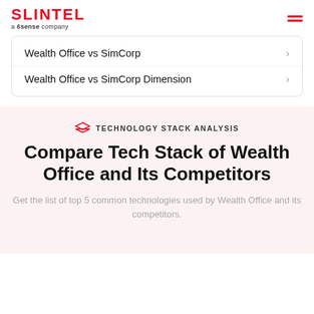SLINTEL a 6sense company
Wealth Office vs SimCorp
Wealth Office vs SimCorp Dimension
TECHNOLOGY STACK ANALYSIS
Compare Tech Stack of Wealth Office and Its Competitors
Get the list of top 5 common technologies used by Wealth Office and its competitors.